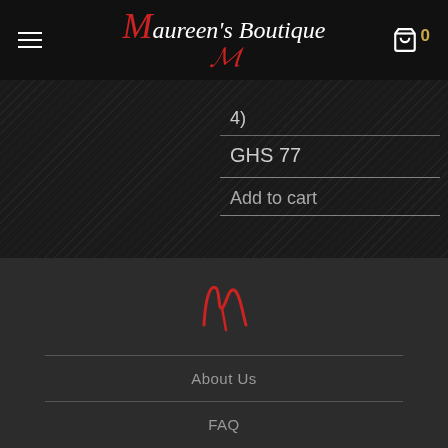Maureen's Boutique
4)
GHS 77
Add to cart
Smart & Sexy with Maureen's Boutique ♥
[Figure (logo): Maureen's Boutique script M logo in red, footer version]
About Us
FAQ